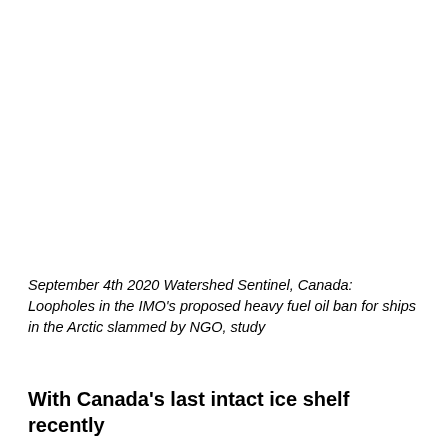September 4th 2020 Watershed Sentinel, Canada: Loopholes in the IMO's proposed heavy fuel oil ban for ships in the Arctic slammed by NGO, study
With Canada’s last intact ice shelf recently